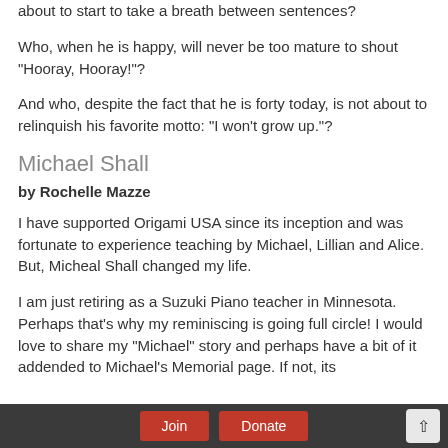about to start to take a breath between sentences?
Who, when he is happy, will never be too mature to shout "Hooray, Hooray!"?
And who, despite the fact that he is forty today, is not about to relinquish his favorite motto: "I won't grow up."?
Michael Shall
by Rochelle Mazze
I have supported Origami USA since its inception and was fortunate to experience teaching by Michael, Lillian and Alice. But, Micheal Shall changed my life.
I am just retiring as a Suzuki Piano teacher in Minnesota. Perhaps that's why my reminiscing is going full circle! I would love to share my "Michael" story and perhaps have a bit of it addended to Michael's Memorial page. If not, its
Join   Donate